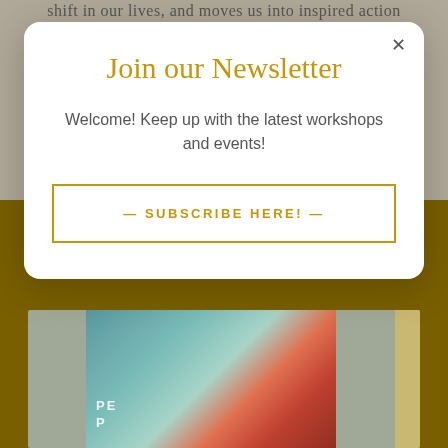shift in our lives, and moves us into inspired action
Join our Newsletter
Welcome! Keep up with the latest workshops and events!
— SUBSCRIBE HERE! —
[Figure (photo): Book cover or artwork with teal/turquoise background featuring a colorful bird or figure illustration, with partial text visible including letters 'E' and 'P']